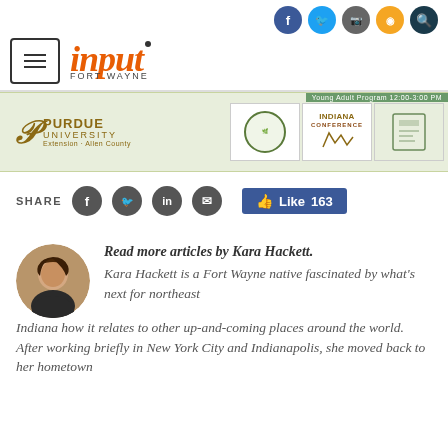[Figure (logo): Input Fort Wayne website header with social media icons (Facebook, Twitter, Instagram, RSS, Search), hamburger menu, and Input Fort Wayne logo in orange italic text]
[Figure (infographic): Purdue University Extension banner advertisement with conference logos]
SHARE [social icons: Facebook, Twitter, LinkedIn, Email] Like 163
Read more articles by Kara Hackett. Kara Hackett is a Fort Wayne native fascinated by what's next for northeast Indiana how it relates to other up-and-coming places around the world. After working briefly in New York City and Indianapolis, she moved back to her hometown